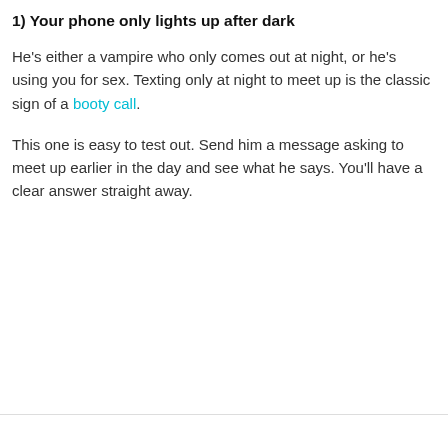1) Your phone only lights up after dark
He's either a vampire who only comes out at night, or he's using you for sex. Texting only at night to meet up is the classic sign of a booty call.
This one is easy to test out. Send him a message asking to meet up earlier in the day and see what he says. You'll have a clear answer straight away.